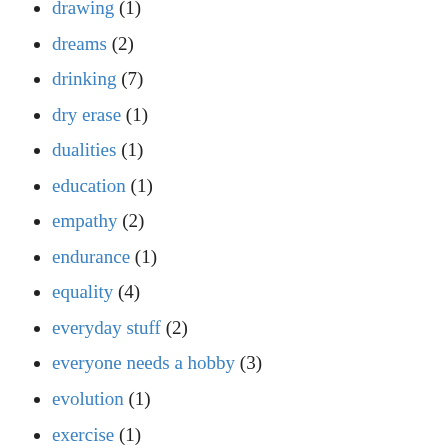drawing (1)
dreams (2)
drinking (7)
dry erase (1)
dualities (1)
education (1)
empathy (2)
endurance (1)
equality (4)
everyday stuff (2)
everyone needs a hobby (3)
evolution (1)
exercise (1)
existentialist angst (6)
experiments (1)
extraneous modifiers (1)
family (18)